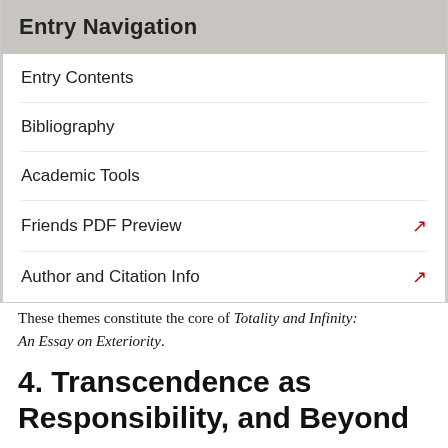Entry Navigation
Entry Contents
Bibliography
Academic Tools
Friends PDF Preview
Author and Citation Info
These themes constitute the core of Totality and Infinity: An Essay on Exteriority.
4. Transcendence as Responsibility, and Beyond
Levinas's first book-length essay, Totality and Infinity (1961), was written as his Habilitation or Doctorat d'État. [22] Transcendence is a significant focus of Totality and Infinity, coming to pass in the face-to-face relationship